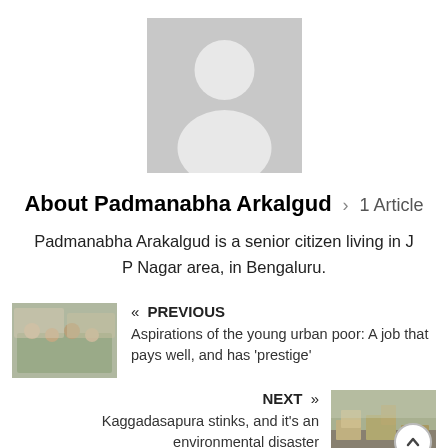[Figure (illustration): Gray placeholder avatar image with silhouette of a person (head and shoulders) on gray background]
About Padmanabha Arkalgud › 1 Article
Padmanabha Arakalgud is a senior citizen living in J P Nagar area, in Bengaluru.
[Figure (photo): Thumbnail photo showing group of young people seated around a table]
« PREVIOUS
Aspirations of the young urban poor: A job that pays well, and has 'prestige'
NEXT »
Kaggadasapura stinks, and it's an environmental disaster
[Figure (photo): Thumbnail photo showing garbage or waste pile outdoors]